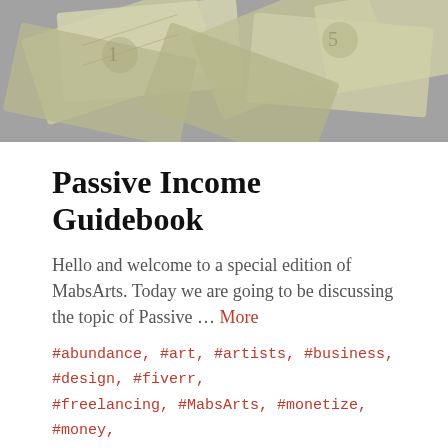[Figure (photo): Close-up photo of scattered US dollar bills]
Passive Income Guidebook
Hello and welcome to a special edition of MabsArts. Today we are going to be discussing the topic of Passive … More
#abundance, #art, #artists, #business, #design, #fiverr, #freelancing, #MabsArts, #monetize, #money, #passive income, #print on demand, #tips
[Figure (photo): Blurred dark photo, appears to show a face or figure]